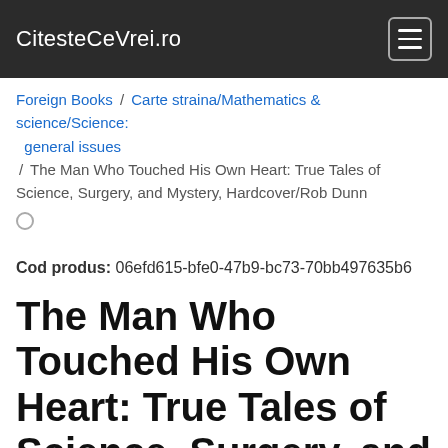CitesteCeVrei.ro
Foreign Books / Carte straina/Mathematics & science/Science: general issues / The Man Who Touched His Own Heart: True Tales of Science, Surgery, and Mystery, Hardcover/Rob Dunn
Cod produs: 06efd615-bfe0-47b9-bc73-70bb497635b6
The Man Who Touched His Own Heart: True Tales of Science, Surgery, and